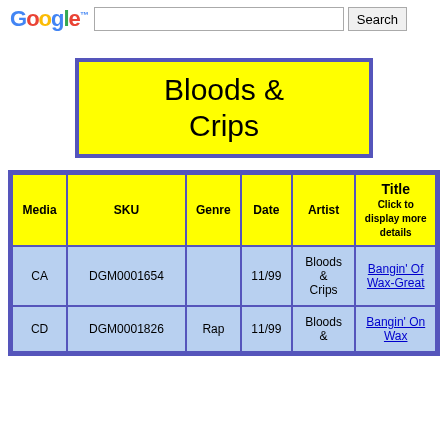[Figure (logo): Google logo with search bar and Search button]
Bloods & Crips
| Media | SKU | Genre | Date | Artist | Title
Click to display more details |
| --- | --- | --- | --- | --- | --- |
| CA | DGM0001654 |  | 11/99 | Bloods & Crips | Bangin' Of Wax-Great |
| CD | DGM0001826 | Rap | 11/99 | Bloods & | Bangin' On Wax |